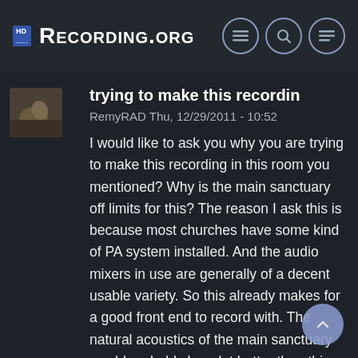Recording.org
trying to make this recordin
RemyRAD Thu, 12/29/2011 - 10:52
I would like to ask you why you are trying to make this recording in this room you mentioned? Why is the main sanctuary off limits for this? The reason I ask this is because most churches have some kind of PA system installed. And the audio mixers in use are generally of a decent usable variety. So this already makes for a good front end to record with. The natural acoustics of the main sanctuary would probably be a lot better than this general-purpose room. I